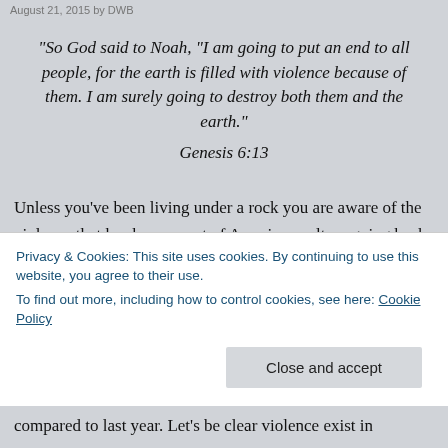August 21, 2015 by DWB
“So God said to Noah, “I am going to put an end to all people, for the earth is filled with violence because of them. I am surely going to destroy both them and the earth.” Genesis 6:13
Unless you’ve been living under a rock you are aware of the violence that has been a part of American culture going back to the founding of this nation. On the streets of ‘America the Beautiful’, tragedies are common place and the love of many has grown cold. Young black men are
Privacy & Cookies: This site uses cookies. By continuing to use this website, you agree to their use.
To find out more, including how to control cookies, see here: Cookie Policy
Close and accept
compared to last year. Let’s be clear violence exist in